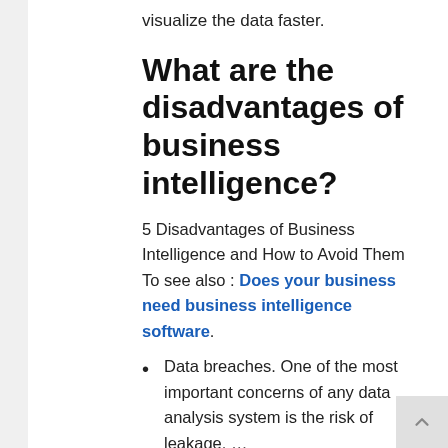visualize the data faster.
What are the disadvantages of business intelligence?
5 Disadvantages of Business Intelligence and How to Avoid Them To see also : Does your business need business intelligence software.
Data breaches. One of the most important concerns of any data analysis system is the risk of leakage. …
High prices. Business intelligence software can be expensive. …
Difficulties in analyzing different data